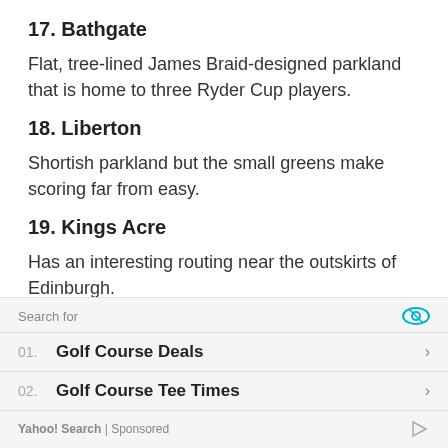17. Bathgate
Flat, tree-lined James Braid-designed parkland that is home to three Ryder Cup players.
18. Liberton
Shortish parkland but the small greens make scoring far from easy.
19. Kings Acre
Has an interesting routing near the outskirts of Edinburgh.
| # | Item | Link |
| --- | --- | --- |
| 01. | Golf Course Deals | > |
| 02. | Golf Course Tee Times | > |